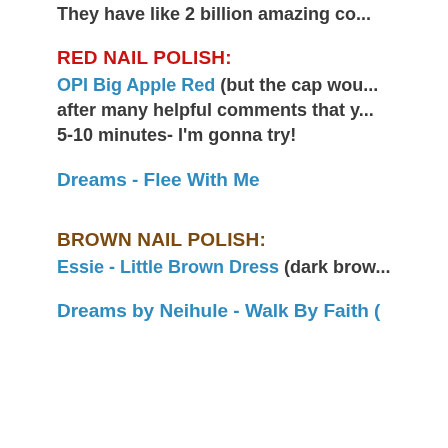They have like 2 billion amazing co...
RED NAIL POLISH:
OPI Big Apple Red (but the cap wou... after many helpful comments that y... 5-10 minutes- I'm gonna try!
Dreams - Flee With Me
BROWN NAIL POLISH:
Essie - Little Brown Dress (dark brow...
Dreams by Neihule - Walk By Faith (